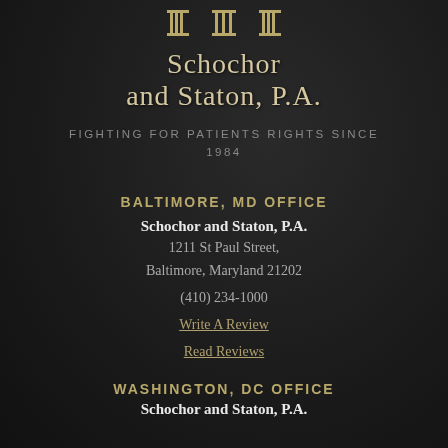[Figure (logo): Schochor and Staton P.A. law firm logo with three column icons above the firm name]
Schochor and Staton, P.A.
FIGHTING FOR PATIENTS RIGHTS SINCE 1984
BALTIMORE, MD OFFICE
Schochor and Staton, P.A.
1211 St Paul Street,
Baltimore, Maryland 21202
(410) 234-1000
Write A Review
Read Reviews
WASHINGTON, DC OFFICE
Schochor and Staton, P.A.